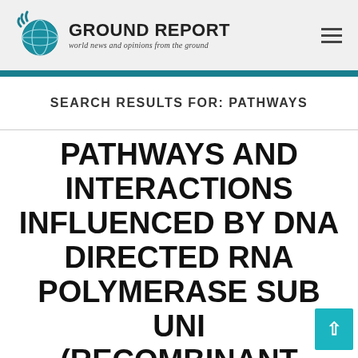GROUND REPORT — world news and opinions from the ground
SEARCH RESULTS FOR: PATHWAYS
PATHWAYS AND INTERACTIONS INFLUENCED BY DNA DIRECTED RNA POLYMERASE SUB UNI (RECOMBINANT PROTEIN)